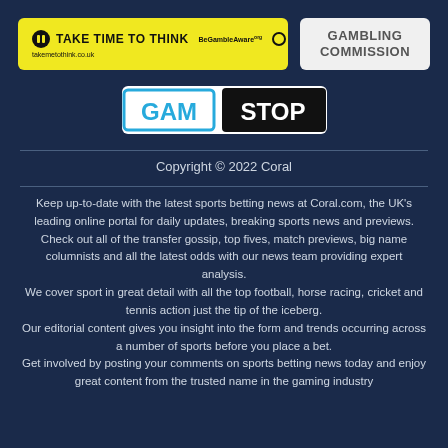[Figure (logo): Take Time To Think yellow logo with pause icon and BeGambleAware badge]
[Figure (logo): Gambling Commission grey logo]
[Figure (logo): GamStop logo with blue and black text on white background]
Copyright © 2022 Coral
Keep up-to-date with the latest sports betting news at Coral.com, the UK's leading online portal for daily updates, breaking sports news and previews.
Check out all of the transfer gossip, top fives, match previews, big name columnists and all the latest odds with our news team providing expert analysis.
We cover sport in great detail with all the top football, horse racing, cricket and tennis action just the tip of the iceberg.
Our editorial content gives you insight into the form and trends occurring across a number of sports before you place a bet.
Get involved by posting your comments on sports betting news today and enjoy great content from the trusted name in the gaming industry